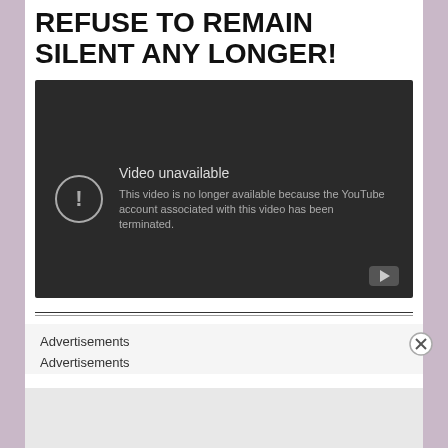REFUSE TO REMAIN SILENT ANY LONGER!
[Figure (screenshot): Embedded YouTube video player showing an error message: 'Video unavailable - This video is no longer available because the YouTube account associated with this video has been terminated.' with a warning icon and YouTube logo button in bottom-right corner.]
Advertisements
Advertisements